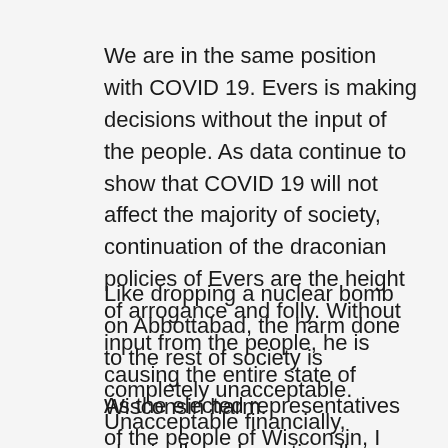We are in the same position with COVID 19. Evers is making decisions without the input of the people. As data continue to show that COVID 19 will not affect the majority of society, continuation of the draconian policies of Evers are the height of arrogance and folly. Without input from the people, he is causing the entire state of Wisconsin harm.
Like dropping a nuclear bomb on Abbottabad, the harm done to the rest of society is completely unacceptable. Unacceptable financially, physically and emotionally.
As the elected representatives of the people of Wisconsin, I encourage the state Legislature to stop the governor from causing more harm to the